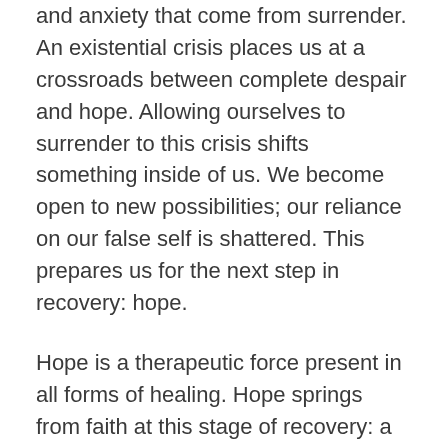and anxiety that come from surrender. An existential crisis places us at a crossroads between complete despair and hope. Allowing ourselves to surrender to this crisis shifts something inside of us. We become open to new possibilities; our reliance on our false self is shattered. This prepares us for the next step in recovery: hope.
Hope is a therapeutic force present in all forms of healing. Hope springs from faith at this stage of recovery: a faith that there is a better and healthier alternative. We find our hope in the Twelve Steps. On page 58 of the Big Book, the newcomer is told that “Rarely have we seen a person fail who has thoroughly followed our path.” If we believe ourselves to be special, then we won’t adhere to the prescribed path of action.